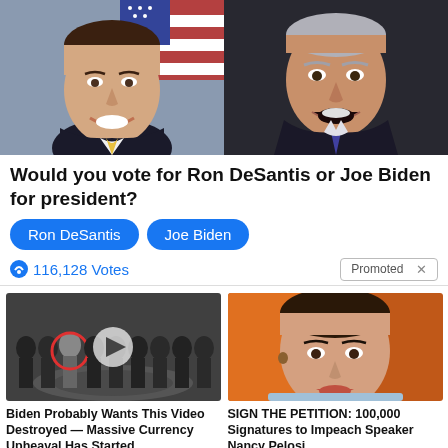[Figure (photo): Two portrait photos side by side: Ron DeSantis on the left (official portrait with American flag, suit, yellow tie) and Joe Biden on the right (at podium, dark background)]
Would you vote for Ron DeSantis or Joe Biden for president?
Ron DeSantis
Joe Biden
116,128 Votes
Promoted X
[Figure (photo): Group photo at CIA headquarters lobby floor with CIA seal, one person circled in red, play button overlay indicating video]
[Figure (photo): Portrait of Nancy Pelosi against orange background]
Biden Probably Wants This Video Destroyed — Massive Currency Upheaval Has Started
230,083
SIGN THE PETITION: 100,000 Signatures to Impeach Speaker Nancy Pelosi
58,426